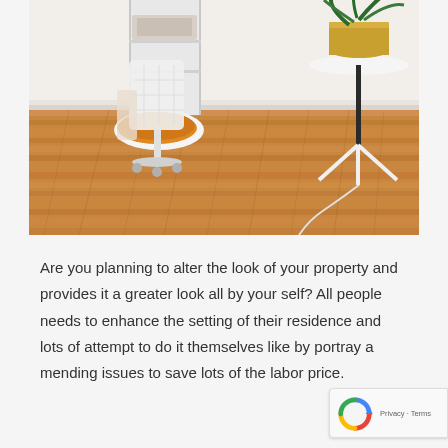[Figure (photo): Interior room photo showing a wooden floor with warm honey tones, a white rolling chair with an orange/mustard cushion on the left, and a white side table with a gold pot plant on the right against a white wall.]
Are you planning to alter the look of your property and provides it a greater look all by your self? All people needs to enhance the setting of their residence and lots of attempt to do it themselves like by portray a mending issues to save lots of the labor price.